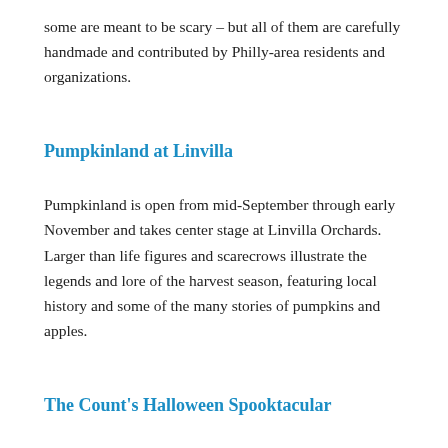some are meant to be scary – but all of them are carefully handmade and contributed by Philly-area residents and organizations.
Pumpkinland at Linvilla
Pumpkinland is open from mid-September through early November and takes center stage at Linvilla Orchards. Larger than life figures and scarecrows illustrate the legends and lore of the harvest season, featuring local history and some of the many stories of pumpkins and apples.
The Count's Halloween Spooktacular
Come in costume and celebrate silly, not-too-spooky fun at The Count's Halloween Spooktacular at Sesame Place! The park